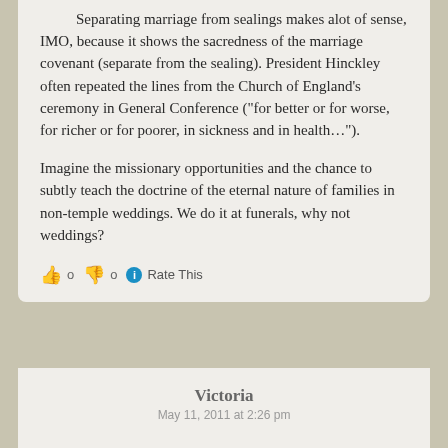Separating marriage from sealings makes alot of sense, IMO, because it shows the sacredness of the marriage covenant (separate from the sealing). President Hinckley often repeated the lines from the Church of England's ceremony in General Conference ("for better or for worse, for richer or for poorer, in sickness and in health…").
Imagine the missionary opportunities and the chance to subtly teach the doctrine of the eternal nature of families in non-temple weddings. We do it at funerals, why not weddings?
👍 0 👎 0 ℹ Rate This
Victoria
May 11, 2011 at 2:26 pm